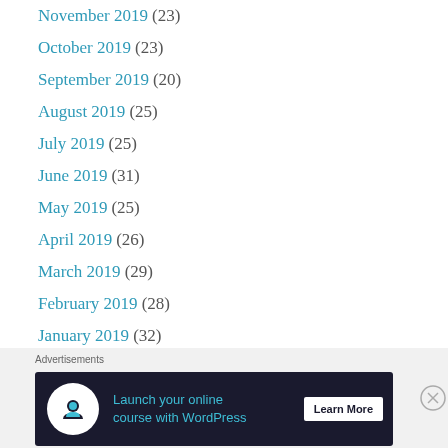November 2019 (23)
October 2019 (23)
September 2019 (20)
August 2019 (25)
July 2019 (25)
June 2019 (31)
May 2019 (25)
April 2019 (26)
March 2019 (29)
February 2019 (28)
January 2019 (32)
[Figure (screenshot): Advertisement banner: Launch your online course with WordPress, Learn More button]